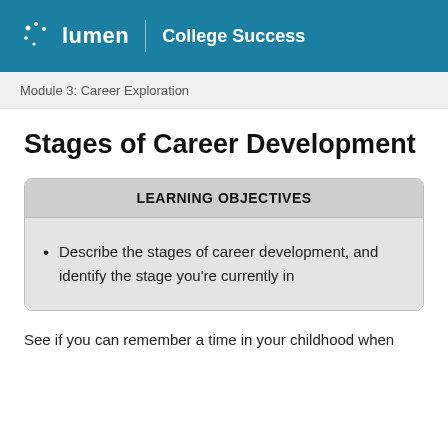lumen  College Success
Module 3: Career Exploration
Stages of Career Development
LEARNING OBJECTIVES
Describe the stages of career development, and identify the stage you're currently in
See if you can remember a time in your childhood when